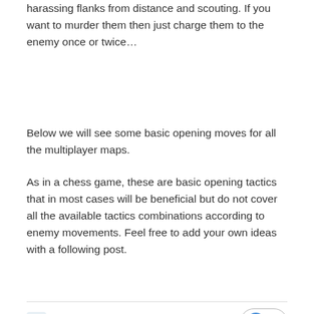harassing flanks from distance and scouting. If you want to murder them then just charge them to the enemy once or twice…
Below we will see some basic opening moves for all the multiplayer maps.
As in a chess game, these are basic opening tactics that in most cases will be beneficial but do not cover all the available tactics combinations according to enemy movements. Feel free to add your own ideas with a following post.
Nick Thomadis
Posted October 11, 2015